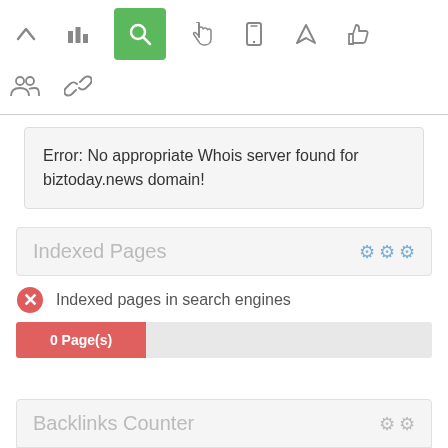[Figure (screenshot): Navigation toolbar with icons: up arrow, bar chart, search (active/green), hand pointer, mobile, send/rocket, thumbs up, followed by a second row with people/group icon and chain/link icon]
Error: No appropriate Whois server found for biztoday.news domain!
Indexed Pages
Indexed pages in search engines
0 Page(s)
Backlinks Counter